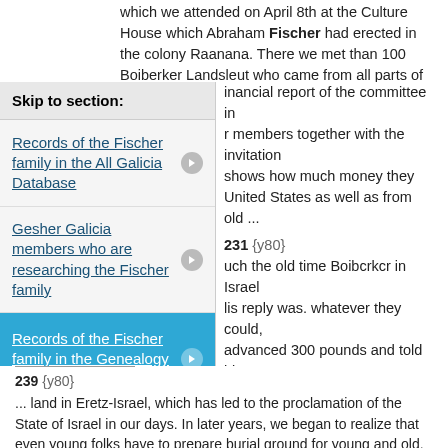which we attended on April 8th at the Culture House which Abraham Fischer had erected in the colony Raanana. There we met than 100 Boiberker Landsleut who came from all parts of Israel to honor the financial report of the committee in r members together with the invitation shows how much money they United States as well as from old ...
Skip to section:
Records of the Fischer family in the All Galicia Database
Gesher Galicia members who are researching the Fischer family
Records of the Fischer family in the Genealogy Indexer
Other ways to connect with people researching the Fischer family
231 {y80}
uch the old time Boiberkcr in Israel
lis reply was. whatever they could,
advanced 300 pounds and told him
from America to visit Israel shortly for
to collect their share from them. I did
Fischer their share when they
we met in Haifa with a large group of
From them I learned that they planned
crkcr Society to help Boibcrkер
ttle in Israel, and would need
cr Free Loan Society was organized in
239 {y80}
... land in Eretz-Israel, which has led to the proclamation of the State of Israel in our days. In later years, we began to realize that even young folks have to prepare burial ground for young and old. The group who gathered on May 17th to organize the society consisted of: Max Glantzcr. Hertz Fischer. Rubin Gracbel. (my school mate in Boibcrke), Julius Engclbcrg, David Gcwantcr, and several others. They elected Max Glantzcr as president. Julius Engclbcrg as Financial secretary and Hertz Fischer, as the protocol secretary. Two years later, Simche or Sam Hcrbst, joined the society and for several decades he and Rubin Grabcl